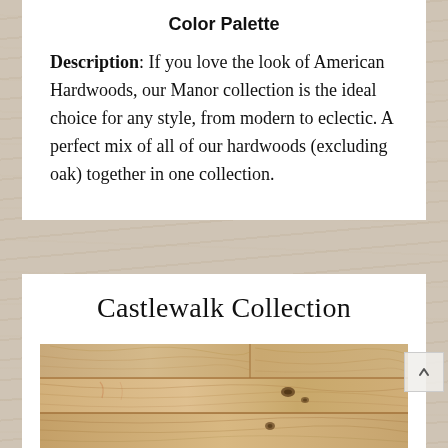Color Palette
Description: If you love the look of American Hardwoods, our Manor collection is the ideal choice for any style, from modern to eclectic. A perfect mix of all of our hardwoods (excluding oak) together in one collection.
Castlewalk Collection
[Figure (photo): Close-up photo of light natural wood flooring planks showing grain texture and knots]